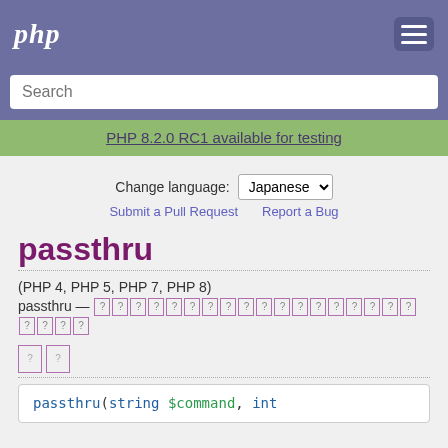php
Search
PHP 8.2.0 RC1 available for testing
Change language: Japanese
Submit a Pull Request   Report a Bug
passthru
(PHP 4, PHP 5, PHP 7, PHP 8)
passthru — [Japanese characters]
[Japanese characters — two boxes]
passthru(string $command, int